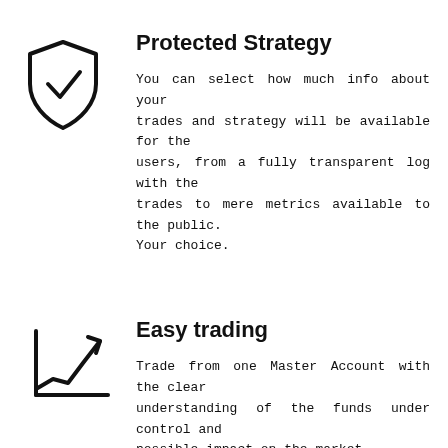[Figure (illustration): Shield icon with a checkmark inside, representing protection]
Protected Strategy
You can select how much info about your trades and strategy will be available for the users, from a fully transparent log with the trades to mere metrics available to the public. Your choice.
[Figure (illustration): Line chart icon with an upward trending arrow, representing easy trading]
Easy trading
Trade from one Master Account with the clear understanding of the funds under control and possible impact on the market.